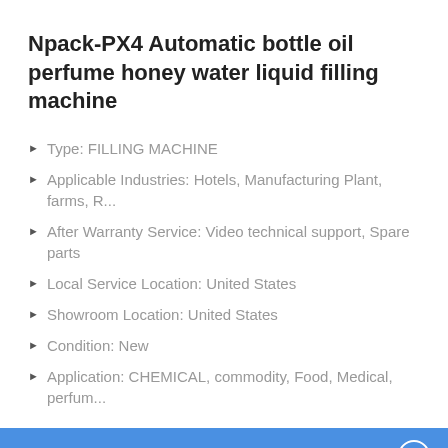Npack-PX4 Automatic bottle oil perfume honey water liquid filling machine
Type: FILLING MACHINE
Applicable Industries: Hotels, Manufacturing Plant, farms, R...
After Warranty Service: Video technical support, Spare parts
Local Service Location: United States
Showroom Location: United States
Condition: New
Application: CHEMICAL, commodity, Food, Medical, perfum...
ONLINE CHAT
Hi,welcome to visit our website.
Cilina